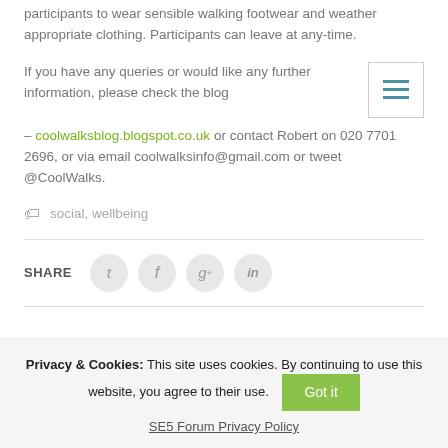participants to wear sensible walking footwear and weather appropriate clothing. Participants can leave at any-time.
If you have any queries or would like any further information, please check the blog
– coolwalksblog.blogspot.co.uk or contact Robert on 020 7701 2696, or via email coolwalksinfo@gmail.com or tweet @CoolWalks.
social, wellbeing
SHARE
Privacy & Cookies: This site uses cookies. By continuing to use this website, you agree to their use.
SE5 Forum Privacy Policy